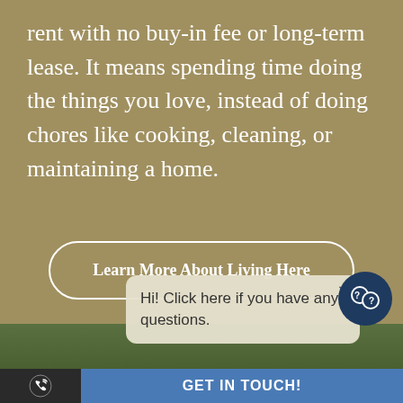rent with no buy-in fee or long-term lease. It means spending time doing the things you love, instead of doing chores like cooking, cleaning, or maintaining a home.
Learn More About Living Here
Hi! Click here if you have any questions.
[Figure (photo): Background photo of outdoor greenery with a person partially visible]
GET IN TOUCH!